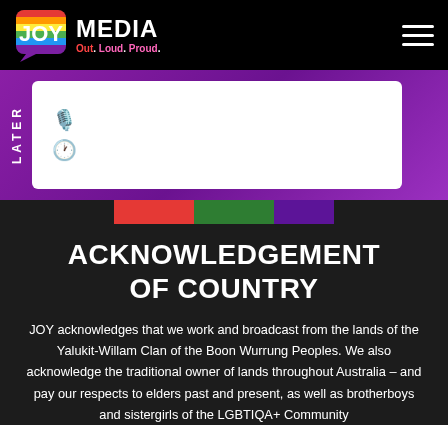JOY MEDIA — Out. Loud. Proud.
[Figure (screenshot): JOY Media logo with rainbow speech bubble and text 'JOY MEDIA Out. Loud. Proud.' on black header bar with hamburger menu icon]
LATER
ACKNOWLEDGEMENT OF COUNTRY
JOY acknowledges that we work and broadcast from the lands of the Yalukit-Willam Clan of the Boon Wurrung Peoples. We also acknowledge the traditional owner of lands throughout Australia – and pay our respects to elders past and present, as well as brotherboys and sistergirls of the LGBTIQA+ Community